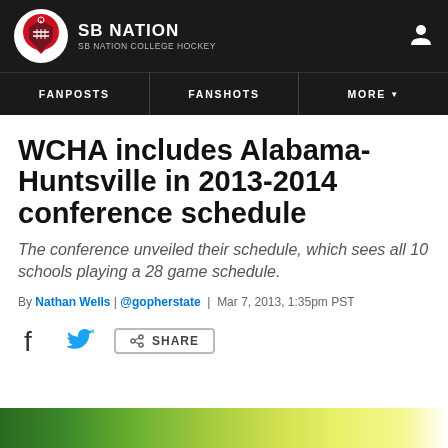SB NATION | SB NATION COLLEGE HOCKEY
FANPOSTS | FANSHOTS | MORE
WCHA includes Alabama-Huntsville in 2013-2014 conference schedule
The conference unveiled their schedule, which sees all 10 schools playing a 28 game schedule.
By Nathan Wells | @gopherstate | Mar 7, 2013, 1:35pm PST
[Figure (screenshot): Share bar with Facebook and Twitter icons and a Share button]
[Figure (photo): Partial bottom image showing green and yellow gradient, likely a hockey arena or team colors]